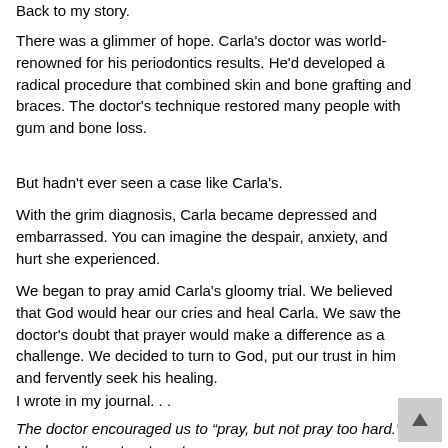Back to my story.
There was a glimmer of hope. Carla's doctor was world-renowned for his periodontics results. He'd developed a radical procedure that combined skin and bone grafting and braces. The doctor's technique restored many people with gum and bone loss.
But hadn't ever seen a case like Carla's.
With the grim diagnosis, Carla became depressed and embarrassed. You can imagine the despair, anxiety, and hurt she experienced.
We began to pray amid Carla's gloomy trial. We believed that God would hear our cries and heal Carla. We saw the doctor's doubt that prayer would make a difference as a challenge. We decided to turn to God, put our trust in him and fervently seek his healing.
I wrote in my journal. . .
The doctor encouraged us to “pray, but not pray too hard.” He doesn't want us to get our